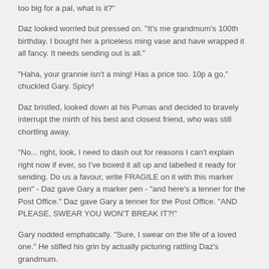too big for a pal, what is it?"
Daz looked worried but pressed on. "It's me grandmum's 100th birthday. I bought her a priceless ming vase and have wrapped it all fancy. It needs sending out is all."
"Haha, your grannie isn't a ming! Has a price too. 10p a go," chuckled Gary. Spicy!
Daz bristled, looked down at his Pumas and decided to bravely interrupt the mirth of his best and closest friend, who was still chortling away.
"No... right, look, I need to dash out for reasons I can't explain right now if ever, so I've boxed it all up and labelled it ready for sending. Do us a favour, write FRAGILE on it with this marker pen" - Daz gave Gary a marker pen - "and here's a tenner for the Post Office." Daz gave Gary a tenner for the Post Office. "AND PLEASE, SWEAR YOU WON'T BREAK IT?!"
Gary nodded emphatically. "Sure, I swear on the life of a loved one." He stifled his grin by actually picturing rattling Daz's grandmum.
"Thanks, mate," sighed Daz, as Gary began to sniff the marker